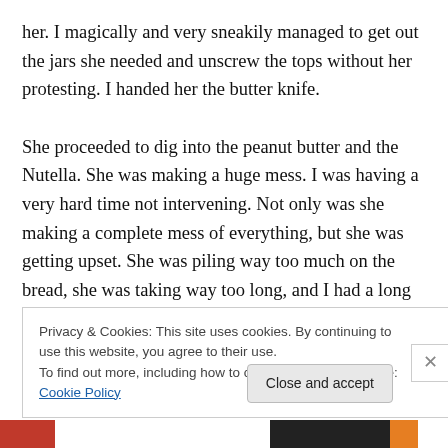her. I magically and very sneakily managed to get out the jars she needed and unscrew the tops without her protesting. I handed her the butter knife.

She proceeded to dig into the peanut butter and the Nutella. She was making a huge mess. I was having a very hard time not intervening. Not only was she making a complete mess of everything, but she was getting upset. She was piling way too much on the bread, she was taking way too long, and I had a long list of other things I did not like about this situation. Finally, after about 10 minutes,
Privacy & Cookies: This site uses cookies. By continuing to use this website, you agree to their use.
To find out more, including how to control cookies, see here: Cookie Policy